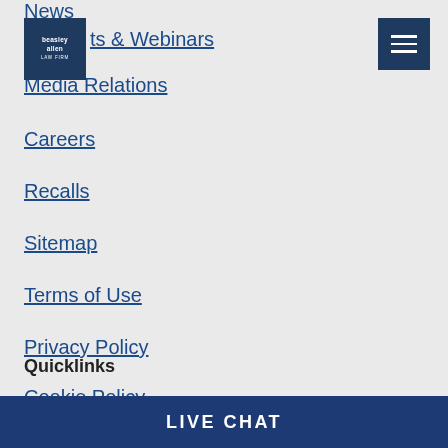[Figure (logo): Beasley Allen Law Firm logo - dark navy square with white text]
News
ts & Webinars
Media Relations
Careers
Recalls
Sitemap
Terms of Use
Privacy Policy
Cookie Policy
Quicklinks
LIVE CHAT